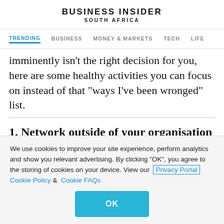BUSINESS INSIDER SOUTH AFRICA
TRENDING  BUSINESS  MONEY & MARKETS  TECH  LIFE
imminently isn't the right decision for you, here are some healthy activities you can focus on instead of that "ways I've been wronged" list.
1. Network outside of your organisation
We use cookies to improve your site experience, perform analytics and show you relevant advertising. By clicking "OK", you agree to the storing of cookies on your device. View our Privacy Portal  Cookie Policy &  Cookie FAQs